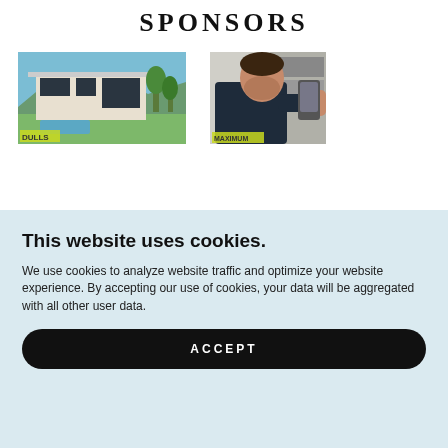SPONSORS
[Figure (photo): Modern house exterior with pool and lawn, sponsor image 1 with 'DULLS' label overlay]
[Figure (photo): Man working on equipment, sponsor image 2 with 'MAXIMUM' label overlay]
This website uses cookies.
We use cookies to analyze website traffic and optimize your website experience. By accepting our use of cookies, your data will be aggregated with all other user data.
ACCEPT